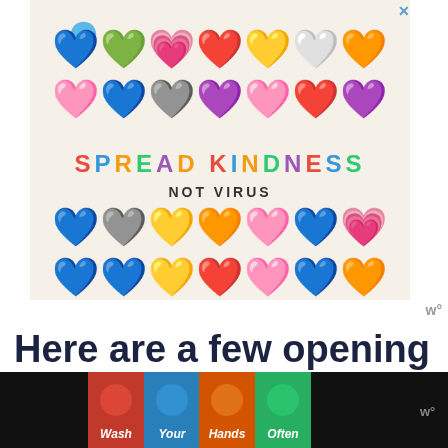[Figure (illustration): Advertisement banner with colorful heart emoji characters arranged in rows above and below the text 'SPREAD KINDNESS NOT VIRUS' on a cream background]
Here are a few opening Dad Jokes to whet your appetite...
[Figure (illustration): Bottom advertisement banner showing 'Wash Your Hands Often' with illustrated hand-washing icons in red, blue, orange, and green sections on a black background]